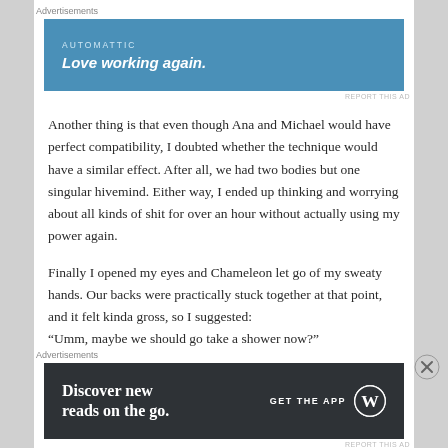Advertisements
[Figure (other): Automattic advertisement banner with blue background. Text: AUTOMATTIC / Love working again.]
Another thing is that even though Ana and Michael would have perfect compatibility, I doubted whether the technique would have a similar effect. After all, we had two bodies but one singular hivemind. Either way, I ended up thinking and worrying about all kinds of shit for over an hour without actually using my power again.
Finally I opened my eyes and Chameleon let go of my sweaty hands. Our backs were practically stuck together at that point, and it felt kinda gross, so I suggested: “Umm, maybe we should go take a shower now?”
Advertisements
[Figure (other): WordPress advertisement banner with dark background. Text: Discover new reads on the go. GET THE APP [WordPress logo]]